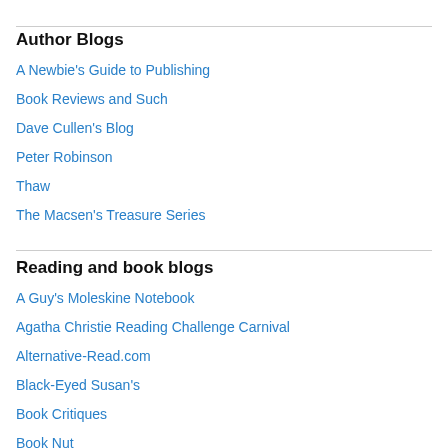Author Blogs
A Newbie's Guide to Publishing
Book Reviews and Such
Dave Cullen's Blog
Peter Robinson
Thaw
The Macsen's Treasure Series
Reading and book blogs
A Guy's Moleskine Notebook
Agatha Christie Reading Challenge Carnival
Alternative-Read.com
Black-Eyed Susan's
Book Critiques
Book Nut